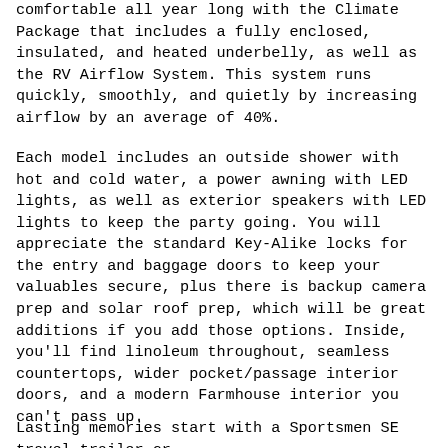comfortable all year long with the Climate Package that includes a fully enclosed, insulated, and heated underbelly, as well as the RV Airflow System. This system runs quickly, smoothly, and quietly by increasing airflow by an average of 40%.
Each model includes an outside shower with hot and cold water, a power awning with LED lights, as well as exterior speakers with LED lights to keep the party going. You will appreciate the standard Key-Alike locks for the entry and baggage doors to keep your valuables secure, plus there is backup camera prep and solar roof prep, which will be great additions if you add those options. Inside, you'll find linoleum throughout, seamless countertops, wider pocket/passage interior doors, and a modern Farmhouse interior you can't pass up.
Lasting memories start with a Sportsmen SE travel trailer or